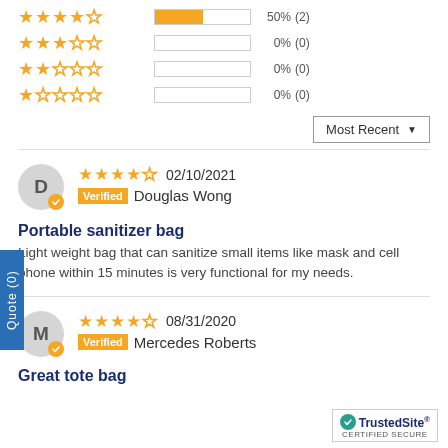[Figure (other): Star rating distribution showing 4-star=50%(2), 3-star=0%(0), 2-star=0%(0), 1-star=0%(0) with bar chart indicators]
Most Recent ▼
[Figure (other): Review by Douglas Wong, 4 stars, 02/10/2021, Verified]
Portable sanitizer bag
Light weight bag that can sanitize small items like mask and cell phone within 15 minutes is very functional for my needs.
[Figure (other): Review by Mercedes Roberts, 4 stars, 08/31/2020, Verified]
Great tote bag